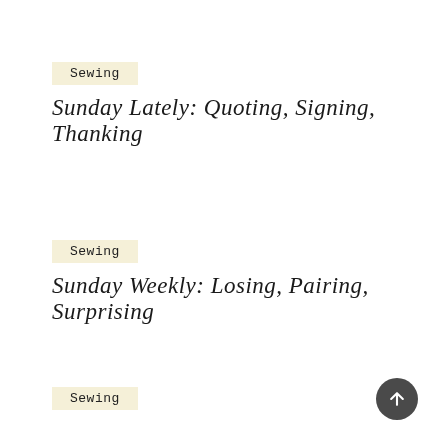Sewing
Sunday Lately: Quoting, Signing, Thanking
Sewing
Sunday Weekly: Losing, Pairing, Surprising
Sewing